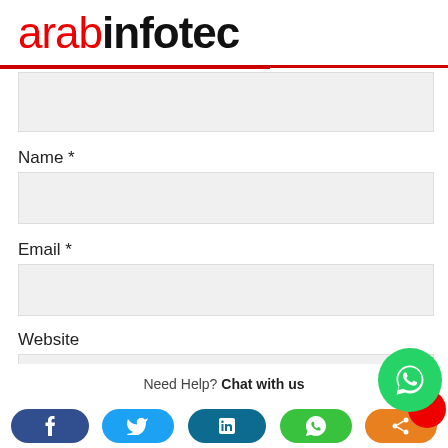[Figure (logo): arabinfotec logo: 'arab' in red, 'infotec' in black bold, large text]
Name *
Email *
Website
Need Help? Chat with us
[Figure (illustration): Social sharing bar with Facebook, Twitter, LinkedIn, WhatsApp, and share buttons]